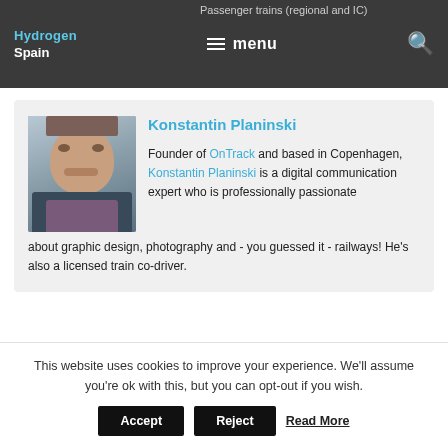Hydrogen | Passenger trains (regional and IC) | Spain | menu
[Figure (photo): Headshot photo of Konstantin Planinski, a man in a blazer]
Konstantin Planinski
Founder of OnTrack and based in Copenhagen, Konstantin Planinski is a digital communication expert who is professionally passionate about graphic design, photography and - you guessed it - railways! He's also a licensed train co-driver.
This website uses cookies to improve your experience. We'll assume you're ok with this, but you can opt-out if you wish.